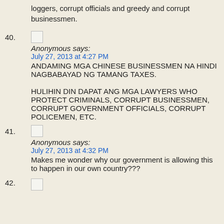loggers, corrupt officials and greedy and corrupt businessmen.
40. Anonymous says:
July 27, 2013 at 4:27 PM
ANDAMING MGA CHINESE BUSINESSMEN NA HINDI NAGBABAYAD NG TAMANG TAXES.

HULIHIN DIN DAPAT ANG MGA LAWYERS WHO PROTECT CRIMINALS, CORRUPT BUSINESSMEN, CORRUPT GOVERNMENT OFFICIALS, CORRUPT POLICEMEN, ETC.
41. Anonymous says:
July 27, 2013 at 4:32 PM
Makes me wonder why our government is allowing this to happen in our own country???
42.